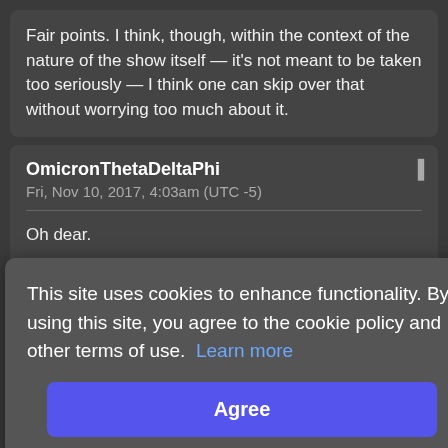Fair points. I think, though, within the context of the nature of the show itself — it's not meant to be taken too seriously — I think one can skip over that without worrying too much about it.
OmicronThetaDeltaPhi
Fri, Nov 10, 2017, 4:03am (UTC -5)
Oh dear.
Haven't yet gotten around to see this one (life got in the way) but I gotta say that the combination of Seth
esn't
This site uses cookies to enhance functionality. By using this site, you agree to the cookie policy and other terms of use.  Learn more
Agree
MadManMUC